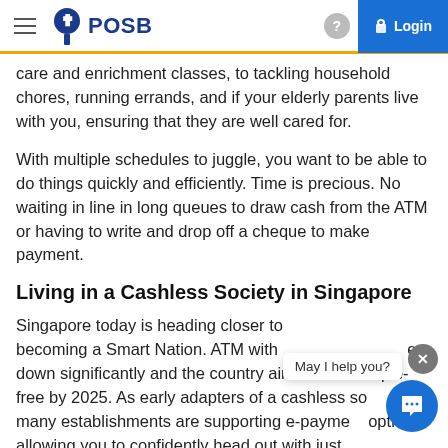POSB — Login
care and enrichment classes, to tackling household chores, running errands, and if your elderly parents live with you, ensuring that they are well cared for.
With multiple schedules to juggle, you want to be able to do things quickly and efficiently. Time is precious. No waiting in line in long queues to draw cash from the ATM or having to write and drop off a cheque to make payment.
Living in a Cashless Society in Singapore
Singapore today is heading closer to its goal of becoming a Smart Nation. ATM withdrawals have gone down significantly and the country aims to be cheque-free by 2025. As early adapters of a cashless society, many establishments are supporting e-payment options, allowing you to confidently head out with just